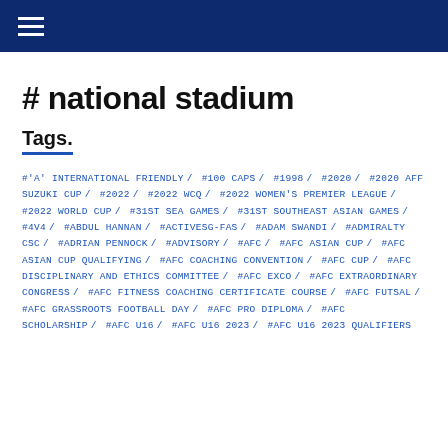# national stadium
Tags.
#'A' INTERNATIONAL FRIENDLY / #100 CAPS / #1998 / #2020 / #2020 AFF SUZUKI CUP / #2022 / #2022 WCQ / #2022 WOMEN'S PREMIER LEAGUE / #2022 WORLD CUP / #31ST SEA GAMES / #31ST SOUTHEAST ASIAN GAMES / #4V4 / #ABDUL HANNAN / #ACTIVESG-FAS / #ADAM SWANDI / #ADMIRALTY CSC / #ADRIAN PENNOCK / #ADVISORY / #AFC / #AFC ASIAN CUP / #AFC ASIAN CUP QUALIFYING / #AFC COACHING CONVENTION / #AFC CUP / #AFC DISCIPLINARY AND ETHICS COMMITTEE / #AFC EXCO / #AFC EXTRAORDINARY CONGRESS / #AFC FITNESS COACHING CERTIFICATE COURSE / #AFC FUTSAL / #AFC GRASSROOTS FOOTBALL DAY / #AFC PRO DIPLOMA / #AFC SCHOLARSHIP / #AFC U16 / #AFC U16 2023 / #AFC U16 2023 QUALIFIERS